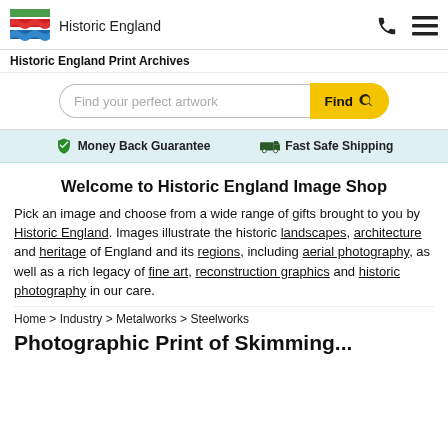[Figure (logo): Historic England logo with coloured stripe graphic and text 'Historic England']
Historic England Print Archives
[Figure (screenshot): Search bar with placeholder 'Find your perfect artwork' and yellow 'Find' button with magnifying glass icon]
Money Back Guarantee   Fast Safe Shipping
Welcome to Historic England Image Shop
Pick an image and choose from a wide range of gifts brought to you by Historic England. Images illustrate the historic landscapes, architecture and heritage of England and its regions, including aerial photography, as well as a rich legacy of fine art, reconstruction graphics and historic photography in our care.
Home > Industry > Metalworks > Steelworks
Photographic Print of Skimming...